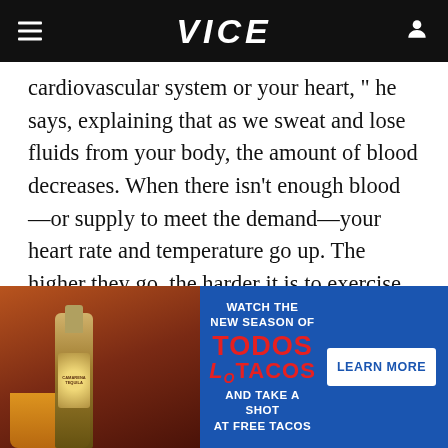VICE
cardiovascular system or your heart, “ he says, explaining that as we sweat and lose fluids from your body, the amount of blood decreases. When there isn't enough blood—or supply to meet the demand—your heart rate and temperature go up. The higher they go, the harder it is to exercise, the more fatigued you feel, and the hotter you get. One of the reasons that the Mission Heat Lab had athletes shuttling
[Figure (infographic): Advertisement banner for 'Todos Los Tacos' featuring a Camarena Tequila bottle, teal/blue background, with text 'Watch the new season of Todos Los Tacos and take a shot at free tacos' and a 'Learn More' button.]